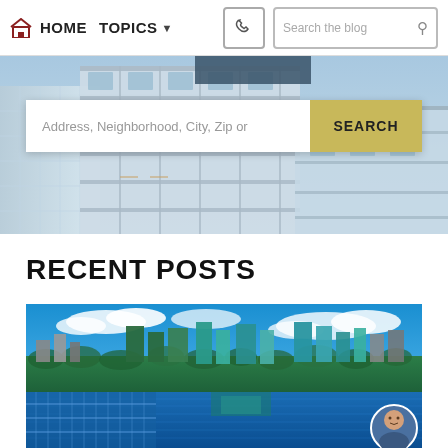HOME  TOPICS  Search the blog
[Figure (photo): Modern luxury condominium building with glass facade, aerial perspective, blue sky background]
Address, Neighborhood, City, Zip or
SEARCH
RECENT POSTS
[Figure (photo): Aerial view of a coastal city with marina, boats, waterfront buildings, lush green trees, and cloudy blue sky. A male realtor headshot avatar is in the bottom right corner.]